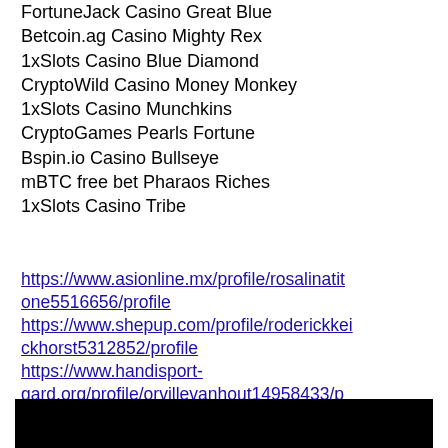FortuneJack Casino Great Blue
Betcoin.ag Casino Mighty Rex
1xSlots Casino Blue Diamond
CryptoWild Casino Money Monkey
1xSlots Casino Munchkins
CryptoGames Pearls Fortune
Bspin.io Casino Bullseye
mBTC free bet Pharaos Riches
1xSlots Casino Tribe
https://www.asionline.mx/profile/rosalinatitone5516656/profile https://www.shepup.com/profile/roderickeickhorst5312852/profile https://www.handisport-gard.org/profile/orvillevanhout14958433/profile https://www.sciotocountyrepublicans.com/profile/howardbjelland5518533/profile
[Figure (other): Black rectangle bar at the bottom of the page]